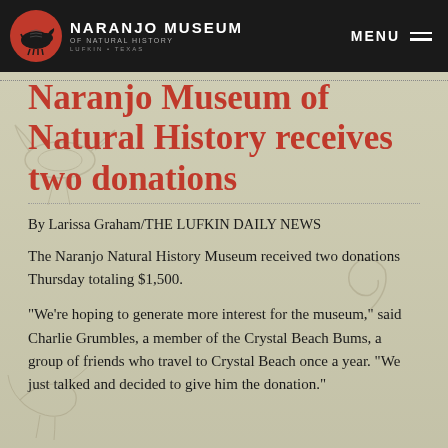NARANJO MUSEUM OF NATURAL HISTORY — LUFKIN • TEXAS | MENU
Naranjo Museum of Natural History receives two donations
By Larissa Graham/THE LUFKIN DAILY NEWS
The Naranjo Natural History Museum received two donations Thursday totaling $1,500.
“We’re hoping to generate more interest for the museum,” said Charlie Grumbles, a member of the Crystal Beach Bums, a group of friends who travel to Crystal Beach once a year. “We just talked and decided to give him the donation.”